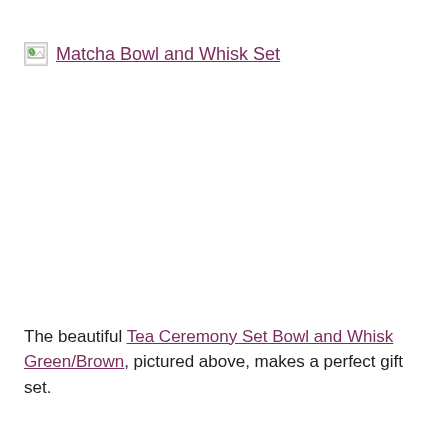[Figure (other): Broken image placeholder icon followed by link text 'Matcha Bowl and Whisk Set']
The beautiful Tea Ceremony Set Bowl and Whisk Green/Brown, pictured above, makes a perfect gift set.